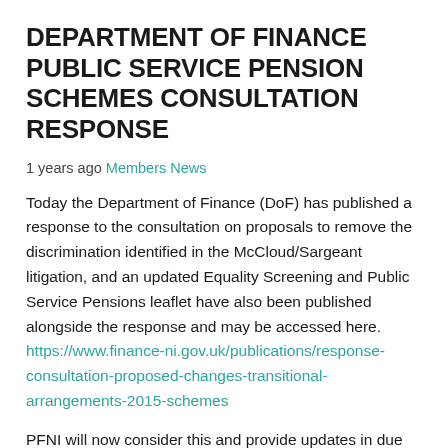DEPARTMENT OF FINANCE PUBLIC SERVICE PENSION SCHEMES CONSULTATION RESPONSE
1 years ago Members News
Today the Department of Finance (DoF) has published a response to the consultation on proposals to remove the discrimination identified in the McCloud/Sargeant litigation, and an updated Equality Screening and Public Service Pensions leaflet have also been published alongside the response and may be accessed here. https://www.finance-ni.gov.uk/publications/response-consultation-proposed-changes-transitional-arrangements-2015-schemes
PFNI will now consider this and provide updates in due